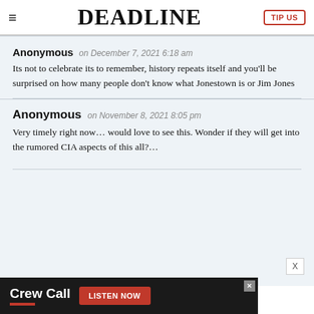DEADLINE
Anonymous on December 7, 2021 6:18 am
Its not to celebrate its to remember, history repeats itself and you'll be surprised on how many people don't know what Jonestown is or Jim Jones
Anonymous on November 8, 2021 8:05 pm
Very timely right now… would love to see this. Wonder if they will get into the rumored CIA aspects of this all?…
[Figure (infographic): Crew Call advertisement banner with Listen Now button]